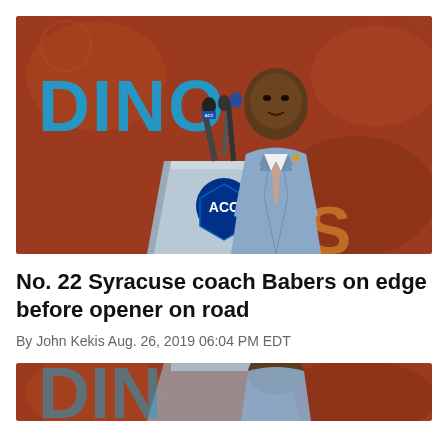[Figure (photo): Man in light blue suit speaking at an ACC podium with microphones, with 'DINO' text visible on an orange/red background behind him.]
No. 22 Syracuse coach Babers on edge before opener on road
By John Kekis Aug. 26, 2019 06:04 PM EDT
[Figure (photo): Partial view of a man at an ACC podium, same orange/red background, cropped at bottom of page.]